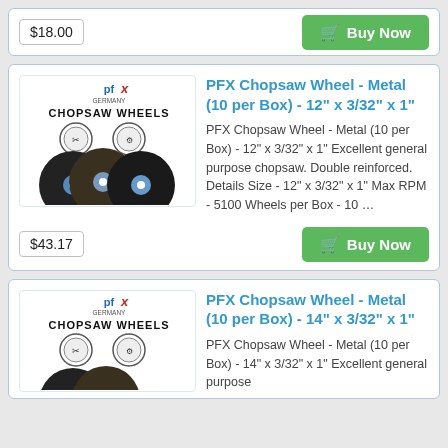$18.00
Buy Now
[Figure (photo): PFX Germany Chopsaw Wheels product image showing three black abrasive discs with blue centers and two circular safety icons]
PFX Chopsaw Wheel - Metal (10 per Box) - 12" x 3/32" x 1"
PFX Chopsaw Wheel - Metal (10 per Box) - 12" x 3/32" x 1" Excellent general purpose chopsaw. Double reinforced.  Details Size - 12" x 3/32" x 1" Max RPM - 5100 Wheels per Box - 10 …
$43.17
Buy Now
[Figure (photo): PFX Germany Chopsaw Wheels product image showing three black abrasive discs with blue centers and two circular safety icons]
PFX Chopsaw Wheel - Metal (10 per Box) - 14" x 3/32" x 1"
PFX Chopsaw Wheel - Metal (10 per Box) - 14" x 3/32" x 1" Excellent general purpose